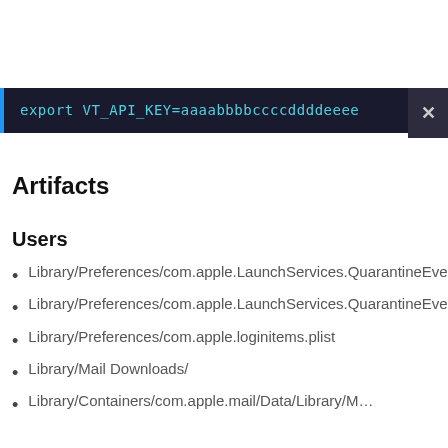[Figure (screenshot): Dark terminal/code block showing export command with API key: export VT_API_KEY=aaaabbbbccccddddeeee, with a blue left border and a close (×) button on the right]
Artifacts
Users
Library/Preferences/com.apple.LaunchServices.QuarantineEventsV2
Library/Preferences/com.apple.LaunchServices.QuarantineEvents
Library/Preferences/com.apple.loginitems.plist
Library/Mail Downloads/
Library/Containers/com.apple.mail/Data/Library/M…